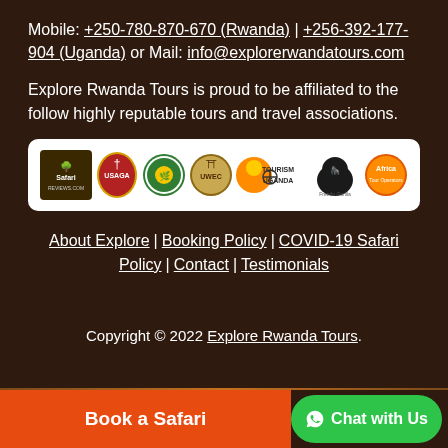Mobile: +250-780-870-670 (Rwanda) | +256-392-177-904 (Uganda) or Mail: info@explorerwandatours.com
Explore Rwanda Tours is proud to be affiliated to the follow highly reputable tours and travel associations.
[Figure (logo): Row of association logos: Safari Reviews, USAGA, Uganda Wildlife Association, UWEC, Tourism Uganda, Freedo Gorilla, Africa Tour Operators]
About Explore | Booking Policy | COVID-19 Safari Policy | Contact | Testimonials
Copyright © 2022 Explore Rwanda Tours.
Book a Safari
Chat with Us